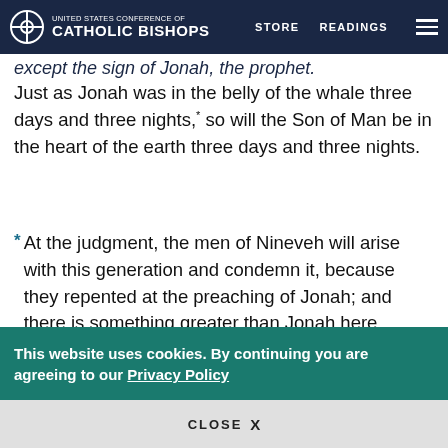UNITED STATES CONFERENCE OF CATHOLIC BISHOPS | STORE | READINGS
except the sign of Jonah the prophet.
Just as Jonah was in the belly of the whale three days and three nights,* so will the Son of Man be in the heart of the earth three days and three nights.
* At the judgment, the men of Nineveh will arise with this generation and condemn it, because they repented at the preaching of Jonah; and there is something greater than Jonah here.
At the judgment the queen of the south will arise with this generation and condemn it, because she
This website uses cookies. By continuing you are agreeing to our Privacy Policy
CLOSE X